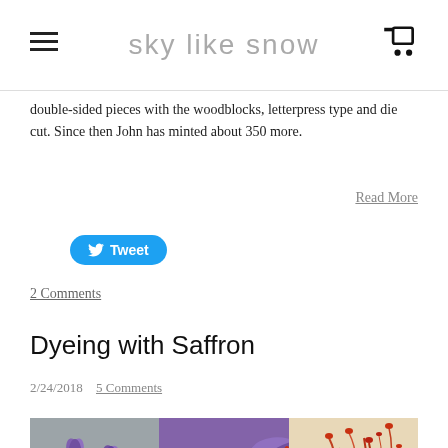sky like snow
double-sided pieces with the woodblocks, letterpress type and die cut. Since then John has minted about 350 more.
Read More
[Figure (other): Twitter Tweet button (blue rounded rectangle with bird icon)]
2 Comments
Dyeing with Saffron
2/24/2018  5 Comments
[Figure (photo): Three photos of saffron: purple crocus flowers, close-up of saffron flower with bee, and dried saffron threads on light background]